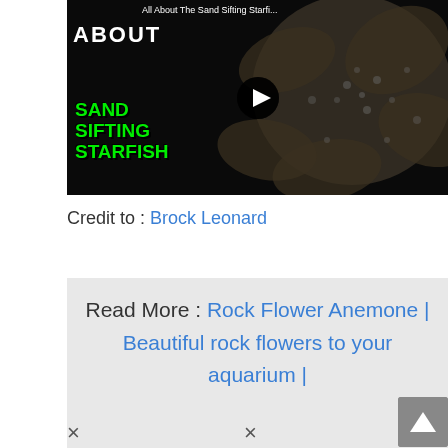[Figure (screenshot): YouTube video thumbnail for 'All About The Sand Sifting Starfish' by Brock Leonard. Dark background with a starfish image on the right, green bold text reading 'SAND SIFTING STARFISH' on the lower left, white 'ABOUT' text top left, and a play button in the center.]
Credit to : Brock Leonard
Read More : Rock Flower Anemone | Beautiful rock flowers to your aquarium |